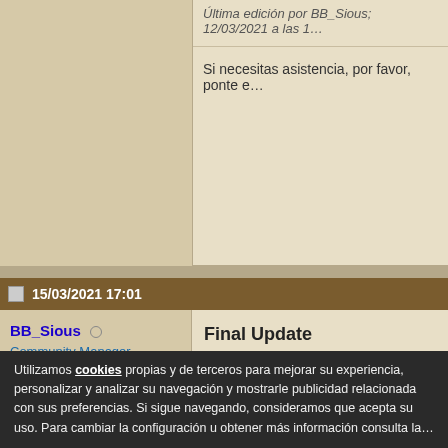Última edición por BB_Sious; 12/03/2021 a las 1...
Si necesitas asistencia, por favor, ponte e...
15/03/2021 17:01
BB_Sious
Community Manager
[Figure (logo): Ubisoft Blue Byte logo — white box with UBISOFT text above and BLUE with circle O and BYTE in bold black text]
Fecha de Ingreso: 21 mar, 17
Mensajes: 1,236
Mundo: Tierras Salvajes
Final Update
Dear World-Savers,
The priests were defeated and we would like...
Utilizamos cookies propias y de terceros para mejorar su experiencia, personalizar y analizar su navegación y mostrarle publicidad relacionada con sus preferencias. Si sigue navegando, consideramos que acepta su uso. Para cambiar la configuración u obtener más información consulta la...